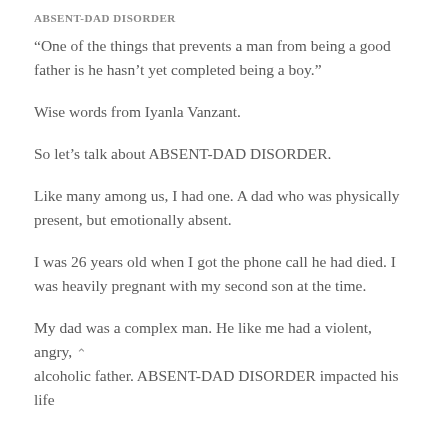ABSENT-DAD DISORDER
“One of the things that prevents a man from being a good father is he hasn’t yet completed being a boy.”
Wise words from Iyanla Vanzant.
So let’s talk about ABSENT-DAD DISORDER.
Like many among us, I had one. A dad who was physically present, but emotionally absent.
I was 26 years old when I got the phone call he had died. I was heavily pregnant with my second son at the time.
My dad was a complex man. He like me had a violent, angry, alcoholic father. ABSENT-DAD DISORDER impacted his life